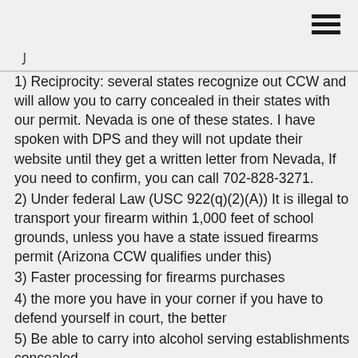☰
1) Reciprocity: several states recognize out CCW and will allow you to carry concealed in their states with our permit. Nevada is one of these states. I have spoken with DPS and they will not update their website until they get a written letter from Nevada, If you need to confirm, you can call 702-828-3271.
2) Under federal Law (USC 922(q)(2)(A)) It is illegal to transport your firearm within 1,000 feet of school grounds, unless you have a state issued firearms permit (Arizona CCW qualifies under this)
3) Faster processing for firearms purchases
4) the more you have in your corner if you have to defend yourself in court, the better
5) Be able to carry into alcohol serving establishments concealed